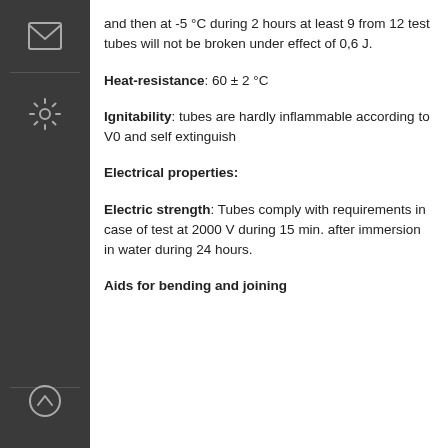and then at -5 °C during 2 hours at least 9 from 12 test tubes will not be broken under effect of 0,6 J.
Heat-resistance: 60 ± 2 °C
Ignitability: tubes are hardly inflammable according to V0 and self extinguish
Electrical properties:
Electric strength: Tubes comply with requirements in case of test at 2000 V during 15 min. after immersion in water during 24 hours.
Aids for bending and joining